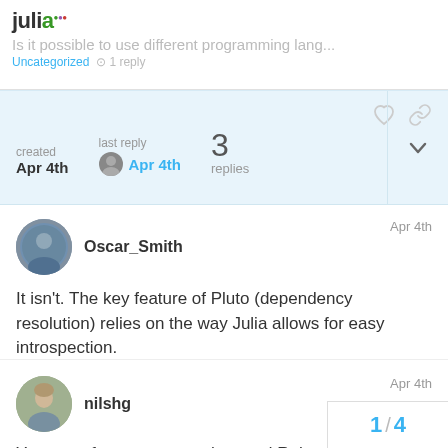julia — Is it possible to use different programming lang... — Uncategorized · 1 reply
created Apr 4th | last reply Apr 4th | 3 replies
Oscar_Smith — Apr 4th

It isn't. The key feature of Pluto (dependency resolution) relies on the way Julia allows for easy introspection.
nilshg — Apr 4th

You can of course use python and R throu
1 / 4